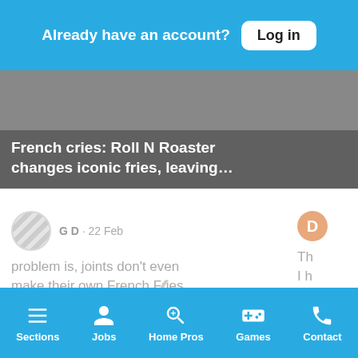Already have an account? Log in
[Figure (screenshot): Article card with text: French cries: Roll N Roaster changes iconic fries, leaving...]
G D · 22 Feb
problem is, joints don't even make their own French Fries...
🔥 Top Comment   👍 1
Sections  Jobs  Home Pros  Games  Contact